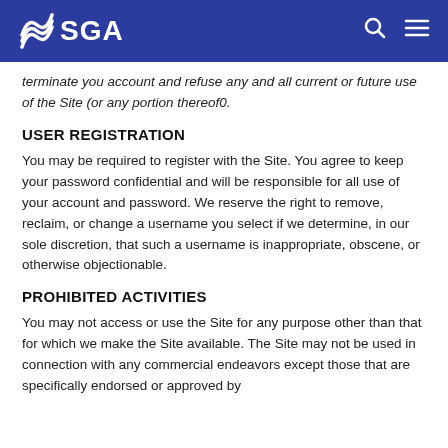SGA
terminate you account and refuse any and all current or future use of the Site (or any portion thereof0.
USER REGISTRATION
You may be required to register with the Site. You agree to keep your password confidential and will be responsible for all use of your account and password. We reserve the right to remove, reclaim, or change a username you select if we determine, in our sole discretion, that such a username is inappropriate, obscene, or otherwise objectionable.
PROHIBITED ACTIVITIES
You may not access or use the Site for any purpose other than that for which we make the Site available. The Site may not be used in connection with any commercial endeavors except those that are specifically endorsed or approved by